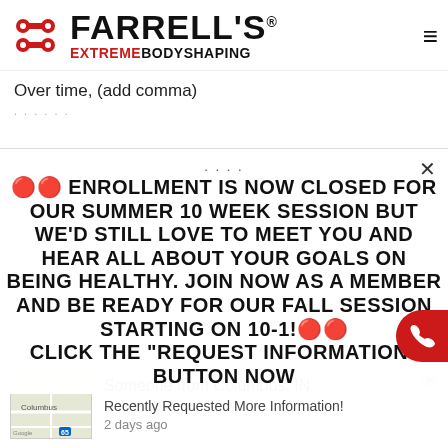[Figure (logo): Farrell's Extreme Bodyshaping logo with red dumbell icon and black/red text, plus hamburger menu icon]
Over time, (add comma)
....
🔴🔴 ENROLLMENT IS NOW CLOSED FOR OUR SUMMER 10 WEEK SESSION BUT WE'D STILL LOVE TO MEET YOU AND HEAR ALL ABOUT YOUR GOALS ON BEING HEALTHY. JOIN NOW AS A MEMBER AND BE READY FOR OUR FALL SESSION STARTING ON 10-1!🔴🔴 CLICK THE "REQUEST INFORMATION" BUTTON NOW
Someone from Columbus, IN
Recently Requested More Information!
2 days ago